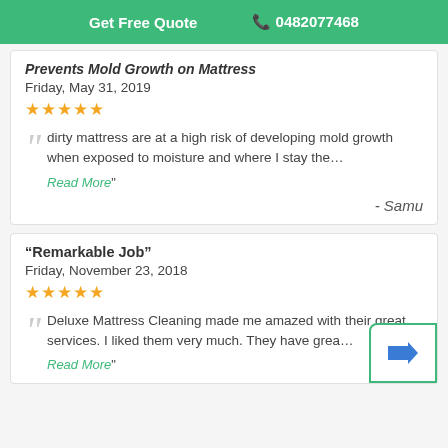Get Free Quote  📞 0482077468
Prevents Mold Growth on Mattress
Friday, May 31, 2019
★★★★★
dirty mattress are at a high risk of developing mold growth when exposed to moisture and where I stay the... Read More" - Samu
"Remarkable Job"
Friday, November 23, 2018
★★★★★
Deluxe Mattress Cleaning made me amazed with their great services. I liked them very much. They have grea... Read More"